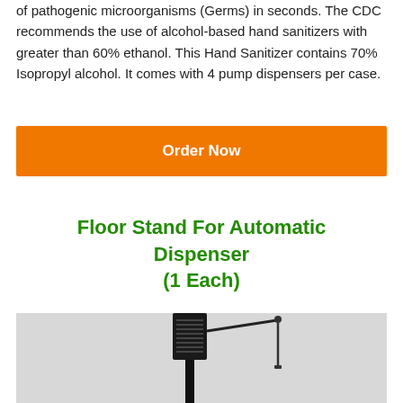of pathogenic microorganisms (Germs) in seconds. The CDC recommends the use of alcohol-based hand sanitizers with greater than 60% ethanol. This Hand Sanitizer contains 70% Isopropyl alcohol. It comes with 4 pump dispensers per case.
Order Now
Floor Stand For Automatic Dispenser (1 Each)
[Figure (photo): Product photo of a floor stand for an automatic dispenser shown against a light gray background. The stand has a tall thin black pole with a rectangular black head unit at the top containing a grid/grille, and a smaller secondary arm extending to the right.]